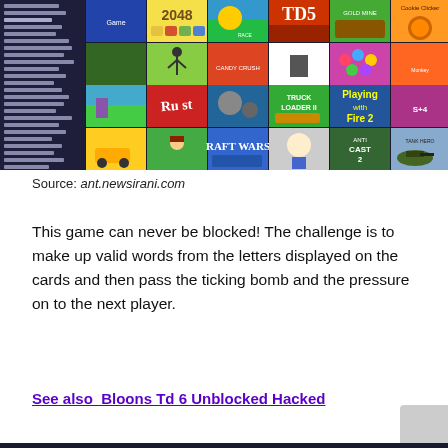[Figure (screenshot): Screenshot of an online games website showing a grid of game thumbnails including 2048, Cookie Clicker, Candy Crush, Truck Loader II, Playing with Fire 2, Raft Wars, Anti Cast 2, Tank Hero, and many others, with a sidebar list of game names on the left.]
Source: ant.newsirani.com
This game can never be blocked! The challenge is to make up valid words from the letters displayed on the cards and then pass the ticking bomb and the pressure on to the next player.
See also  Bloons Td 6 Unblocked Hacked